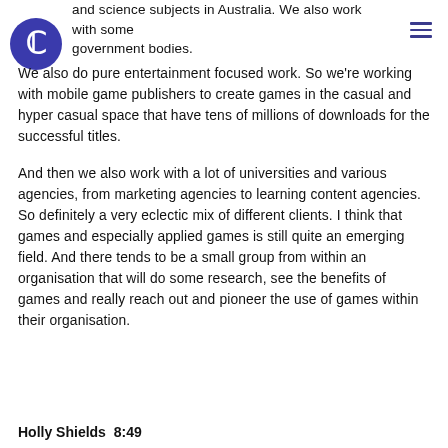and science subjects in Australia. We also work with some government bodies.
[Figure (logo): Blue circle logo with white letter C inside]
We also do pure entertainment focused work. So we're working with mobile game publishers to create games in the casual and hyper casual space that have tens of millions of downloads for the successful titles.
And then we also work with a lot of universities and various agencies, from marketing agencies to learning content agencies. So definitely a very eclectic mix of different clients. I think that games and especially applied games is still quite an emerging field. And there tends to be a small group from within an organisation that will do some research, see the benefits of games and really reach out and pioneer the use of games within their organisation.
Holly Shields  8:49